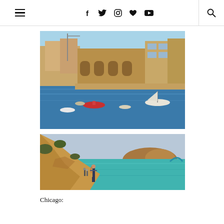Navigation bar with hamburger menu, social icons (Facebook, Twitter, Instagram, heart/Bloglovin, YouTube), and search icon
[Figure (photo): Harbor view with boats on blue water and Mediterranean city buildings in the background under a blue sky]
[Figure (photo): Person standing on rocky cliff overlooking a turquoise lagoon with a rocky island in the background]
Chicago: